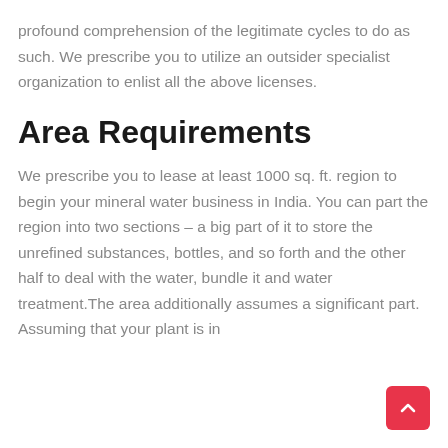profound comprehension of the legitimate cycles to do as such. We prescribe you to utilize an outsider specialist organization to enlist all the above licenses.
Area Requirements
We prescribe you to lease at least 1000 sq. ft. region to begin your mineral water business in India. You can part the region into two sections – a big part of it to store the unrefined substances, bottles, and so forth and the other half to deal with the water, bundle it and water treatment.The area additionally assumes a significant part. Assuming that your plant is in